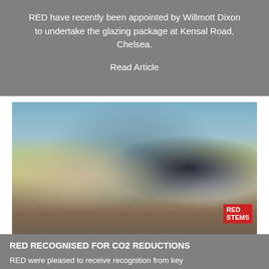RED have recently been appointed by Willmott Dixon to undertake the glazing package at Kensal Road, Chelsea.

Read Article
[Figure (photo): Two men shaking hands in an office with a city skyline and construction rendering visible in the background. A RED Systems logo is visible on the right side. They appear to be holding a small award or plaque between them.]
RED RECOGNISED FOR CO2 REDUCTIONS
RED were pleased to receive recognition from key